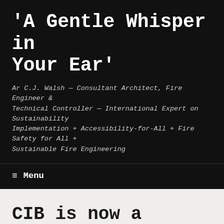'A Gentle Whisper in Your Ear'
Ar C.J. Walsh — Consultant Architect, Fire Engineer & Technical Controller — International Expert on Sustainability Implementation + Accessibility-for-All + Fire Safety for All + Sustainable Fire Engineering
≡ Menu
CIB is now a worldwide network of over 5000 experts
CIB W14 'Fire Safety &...